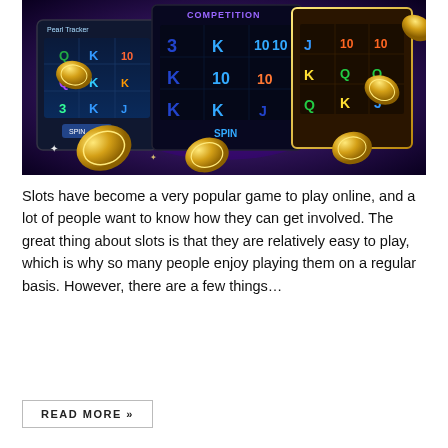[Figure (photo): Promotional image of online slot machine games showing colorful slot machine screens with symbols (K, Q, J, 10), gold coins flying around, on a dark purple/black background. Multiple slot game interfaces are shown including 'Pearl Tracker' and another adventure-themed slot game.]
Slots have become a very popular game to play online, and a lot of people want to know how they can get involved. The great thing about slots is that they are relatively easy to play, which is why so many people enjoy playing them on a regular basis. However, there are a few things…
READ MORE »